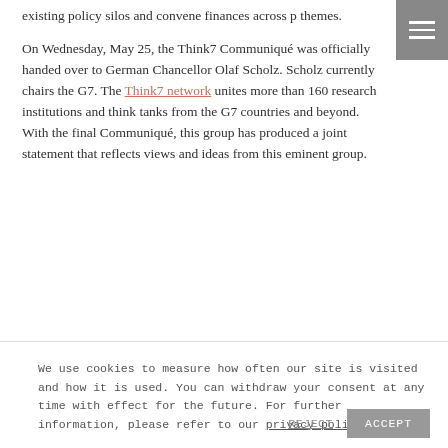existing policy silos and convene finances across p themes.
On Wednesday, May 25, the Think7 Communiqué was officially handed over to German Chancellor Olaf Scholz. Scholz currently chairs the G7. The Think7 network unites more than 160 research institutions and think tanks from the G7 countries and beyond. With the final Communiqué, this group has produced a joint statement that reflects views and ideas from this eminent group.
We use cookies to measure how often our site is visited and how it is used. You can withdraw your consent at any time with effect for the future. For further information, please refer to our privacy policy.